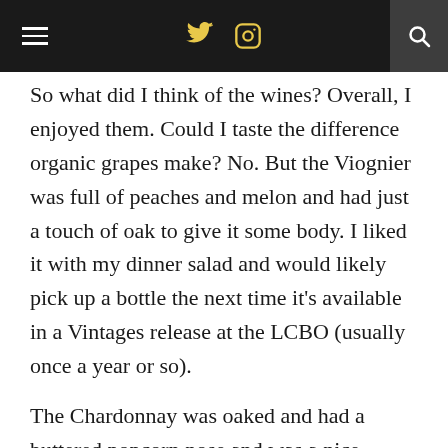≡  [Twitter icon]  [Instagram icon]  [Search icon]
So what did I think of the wines? Overall, I enjoyed them. Could I taste the difference organic grapes make? No. But the Viognier was full of peaches and melon and had just a touch of oak to give it some body. I liked it with my dinner salad and would likely pick up a bottle the next time it's available in a Vintages release at the LCBO (usually once a year or so).
The Chardonnay was oaked and had a buttered popcorn nose and was a nice, creamy option. This is a definite California Chardonnay, with 70% aged in